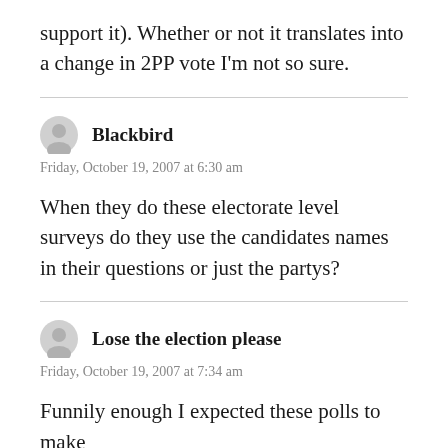support it). Whether or not it translates into a change in 2PP vote I'm not so sure.
Blackbird
Friday, October 19, 2007 at 6:30 am
When they do these electorate level surveys do they use the candidates names in their questions or just the partys?
Lose the election please
Friday, October 19, 2007 at 7:34 am
Funnily enough I expected these polls to make